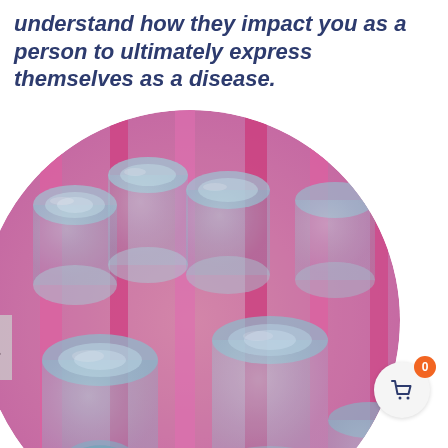understand how they impact you as a person to ultimately express themselves as a disease.
[Figure (photo): Close-up circular photo of laboratory test tubes or cylinders arranged in a rack, illuminated in pink/magenta light with blue-gray glass tones, viewed from above at an angle showing the openings of the tubes.]